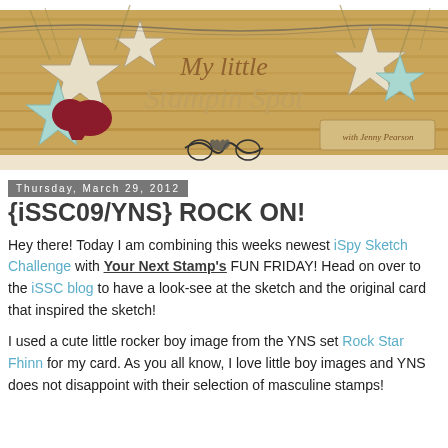[Figure (illustration): Blog header banner for 'My Little Stampin Spot with Jenny Pearson' featuring wooden plank background with decorative stars (cream, mint, dark red) arranged across, cursive script text overlay, and a small decorative heart element in the center bottom]
Thursday, March 29, 2012
{iSSC09/YNS} ROCK ON!
Hey there! Today I am combining this weeks newest iSpy Sketch Challenge with Your Next Stamp's FUN FRIDAY! Head on over to the iSSC blog to have a look-see at the sketch and the original card that inspired the sketch!
I used a cute little rocker boy image from the YNS set Rock Star Fhinn for my card. As you all know, I love little boy images and YNS does not disappoint with their selection of masculine stamps!